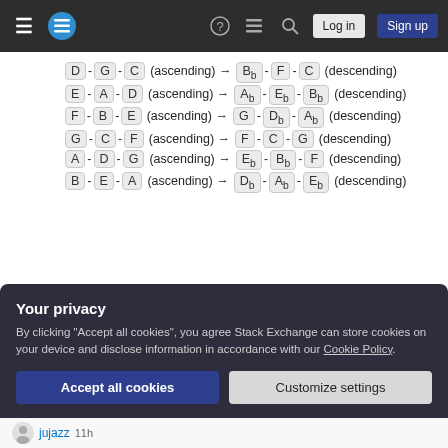Stack Exchange navigation bar with Log in and Sign up buttons
D - G - C (ascending) → Bb - F - C (descending)
E - A - D (ascending) → Ab - Eb - Bb (descending)
F - B - E (ascending) → G - Db - Ab (descending)
G - C - F (ascending) → F - C - G (descending)
A - D - G (ascending) → Eb - Bb - F (descending)
B - E - A (ascending) → Db - Ab - Eb (descending)
Your privacy
By clicking "Accept all cookies", you agree Stack Exchange can store cookies on your device and disclose information in accordance with our Cookie Policy.
Accept all cookies | Customize settings